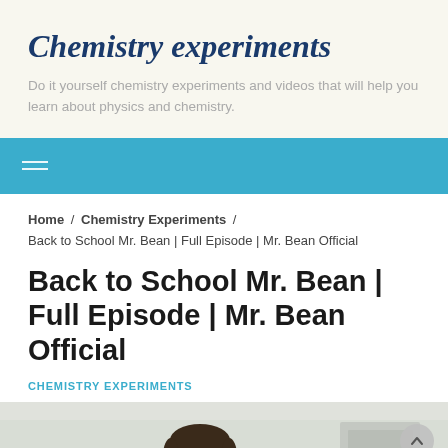Chemistry experiments
Do it yourself chemistry experiments and videos that will help you learn about physics and chemistry.
Home / Chemistry Experiments / Back to School Mr. Bean | Full Episode | Mr. Bean Official
Back to School Mr. Bean | Full Episode | Mr. Bean Official
CHEMISTRY EXPERIMENTS
[Figure (photo): Photo of Mr. Bean character, a man with raised eyebrows looking at camera, in what appears to be a classroom or lab setting]